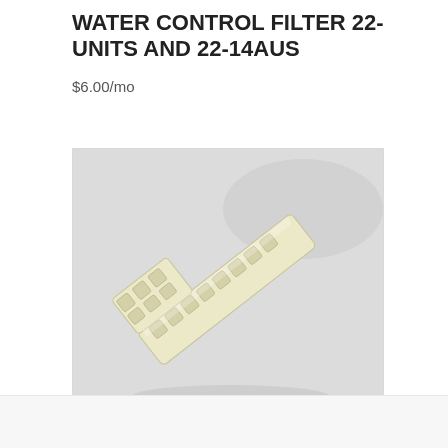WATER CONTROL FILTER 22-UNITS AND 22-14AUS
$6.00/mo
[Figure (photo): Photo of a pale yellow/cream colored plastic part shaped like an L-bracket or angled rail, with a row of square slots/teeth along two sides, lying on a light grey surface.]